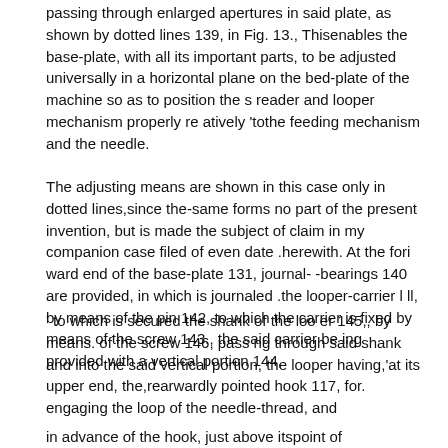passing through enlarged apertures in said plate, as shown by dotted lines 139, in Fig. 13., Thisenables the base-plate, with all its important parts, to be adjusted universally in a horizontal plane on the bed-plate of the machine so as to position the s reader and looper mechanism properly re atively 'tothe feeding mechanism and the needle.
The adjusting means are shown in this case only in dotted lines,since the-same forms no part of the present invention, but is made the subject of claim in my companion case filed of even date .herewith. At the fori ward end of the base-plate 131, journal- -bearings 140 are provided, in which is journaled .the looper-carrier l ll, by means of the pin 142, to which the carrier is fixed by means of the screw 143., the said carrier be ing provided with a vertical portion 144,
' to which is secured the shank of the loo er 145,, by means. of the screw 146, pass ng through said shank and into the said vertical portion, the looper having,'at its upper end, the,rearwardly pointed hook 117, for. engaging the loop of the needle-thread, and
in advance of the hook, just above itspoint of attachment